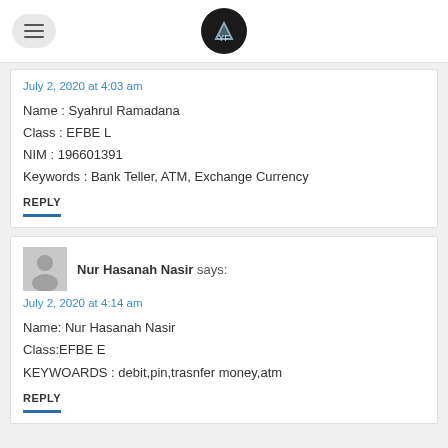[Logo and hamburger menu]
July 2, 2020 at 4:03 am
Name : Syahrul Ramadana
Class : EFBE L
NIM : 196601391
Keywords : Bank Teller, ATM, Exchange Currency
REPLY
Nur Hasanah Nasir says:
July 2, 2020 at 4:14 am
Name: Nur Hasanah Nasir
Class:EFBE E
KEYWOARDS : debit,pin,trasnfer money,atm
REPLY